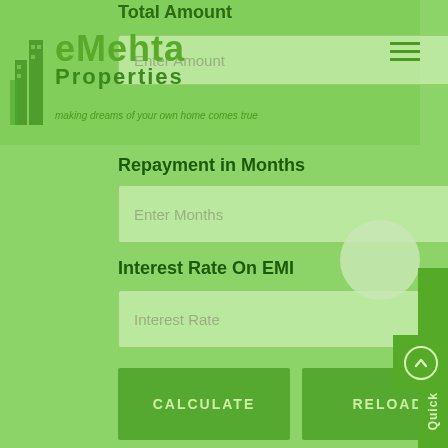Mehta Properties - making dreams of your own home comes true
Total Amount
Enter Amount
Repayment in Months
Enter Months
Interest Rate On EMI
Interest Rate
CALCULATE
RELOAD
Emi Per Month
EMI Amount
Total Interest
Interest payable
Total Amount Payable